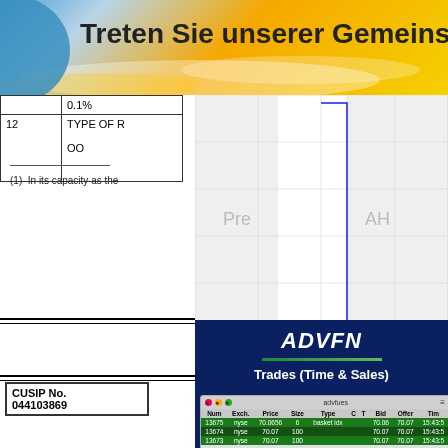[Figure (illustration): Orange and blue banner with German text 'Treten Sie unserer Gemeinsc...' (community banner advertisement)]
|  |  |
| --- | --- |
|  | 0.1% |
| 12 | TYPE OF R

OO |
[Figure (continuous-plot): Stock price chart showing Pre-market and After-Hours (AH) trading. Y-axis ranges approximately 18.9 to 19.05. Blue line shows price movement. X-axis shows times 1100, 1400, 1700, 2000, 2300. Caption: (c) www.advfn.com]
(1)  In its capacity as the
[Figure (screenshot): ADVFN Trades (Time & Sales) panel with dark blue background showing logo 'ADVFN' and subtitle 'Trades (Time & Sales)' with a screenshot of a trading data table with columns: Num, Exch., Price, Size, Type, C, T, Bid, Offer, Tim. Data rows show trades 13675, 13674, 13673 on nyse.]
| CUSIP No.
044103869 |
|  |  |
| --- | --- |
| 1 | NAME OF RE

Oaktree AJF In... |